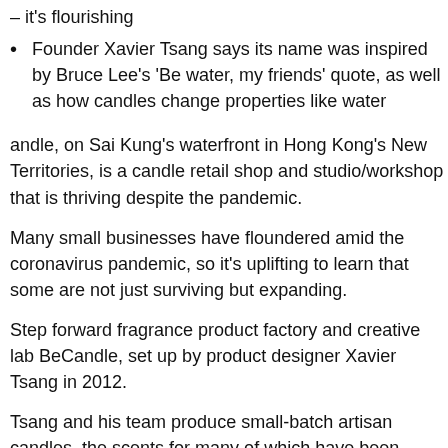– it's flourishing
Founder Xavier Tsang says its name was inspired by Bruce Lee's 'Be water, my friends' quote, as well as how candles change properties like water
andle, on Sai Kung's waterfront in Hong Kong's New Territories, is a candle retail shop and studio/workshop that is thriving despite the pandemic.
Many small businesses have floundered amid the coronavirus pandemic, so it's uplifting to learn that some are not just surviving but expanding.
Step forward fragrance product factory and creative lab BeCandle, set up by product designer Xavier Tsang in 2012.
Tsang and his team produce small-batch artisan candles, the scents for many of which have been developed by fragrance houses in Singapore and Switzerland.
The company recently moved the customer-focused aspects of